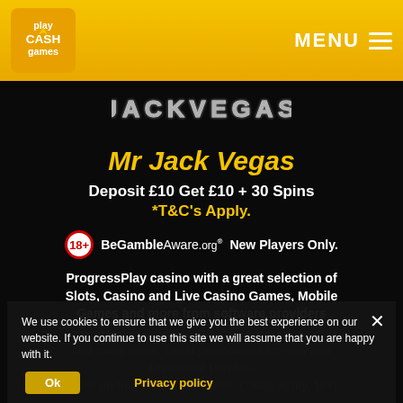MENU
[Figure (logo): Jack Vegas casino logo - decorative metallic text on dark background]
Mr Jack Vegas
Deposit £10 Get £10 + 30 Spins *T&C's Apply.
BeGambleAware.org New Players Only.
ProgressPlay casino with a great selection of Slots, Casino and Live Casino Games, Mobile Games and more from software providers
Microgaming, nextGen, Elk, Thunderkick, NetEnt and many more. Great promotions for new and registered players.
100% up to £ $ € 50 + 30 spins. (T&Cs apply, 18+)
We use cookies to ensure that we give you the best experience on our website. If you continue to use this site we will assume that you are happy with it.